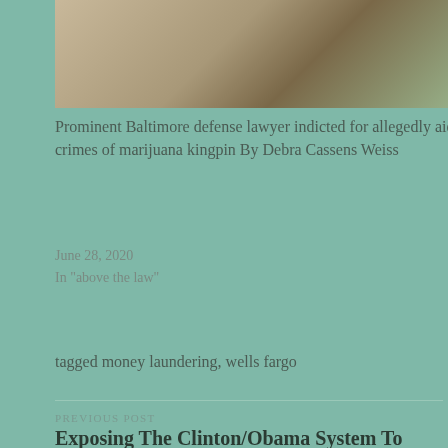[Figure (photo): Photo showing a gavel and marijuana/cannabis leaves on a surface]
Prominent Baltimore defense lawyer indicted for allegedly aiding crimes of marijuana kingpin By Debra Cassens Weiss
June 28, 2020
In "above the law"
tagged money laundering, wells fargo
PREVIOUS POST
Exposing The Clinton/Obama System To Discredit Donald Trump